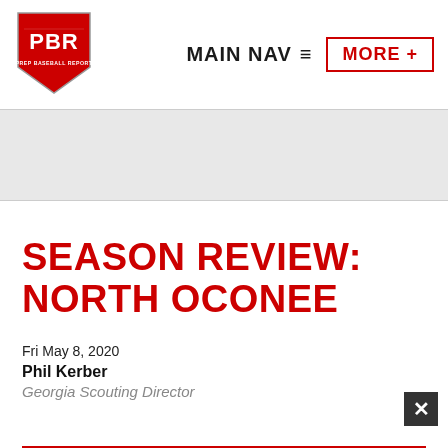[Figure (logo): PBR Prep Baseball Report logo — red shield with white PBR text and 'PREP BASEBALL REPORT' beneath]
MAIN NAV ≡   MORE +
SEASON REVIEW: NORTH OCONEE
Fri May 8, 2020
Phil Kerber
Georgia Scouting Director